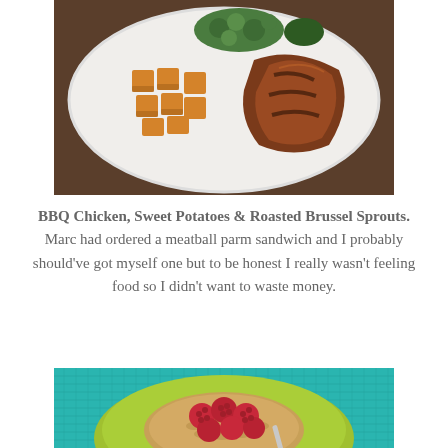[Figure (photo): Food photo showing BBQ chicken with sweet potatoes and roasted brussel sprouts on a white plate, viewed from above on a wooden table]
BBQ Chicken, Sweet Potatoes & Roasted Brussel Sprouts. Marc had ordered a meatball parm sandwich and I probably should've got myself one but to be honest I really wasn't feeling food so I didn't want to waste money.
[Figure (photo): Food photo showing a green plate with raspberries and granola/oats on a teal woven placemat]